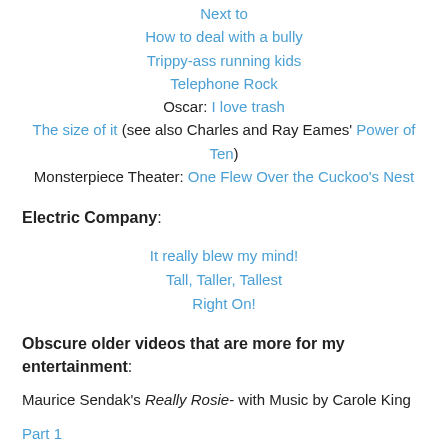Next to
How to deal with a bully
Trippy-ass running kids
Telephone Rock
Oscar: I love trash
The size of it (see also Charles and Ray Eames' Power of Ten)
Monsterpiece Theater: One Flew Over the Cuckoo's Nest
Electric Company:
It really blew my mind!
Tall, Taller, Tallest
Right On!
Obscure older videos that are more for my entertainment:
Maurice Sendak's Really Rosie- with Music by Carole King
Part 1